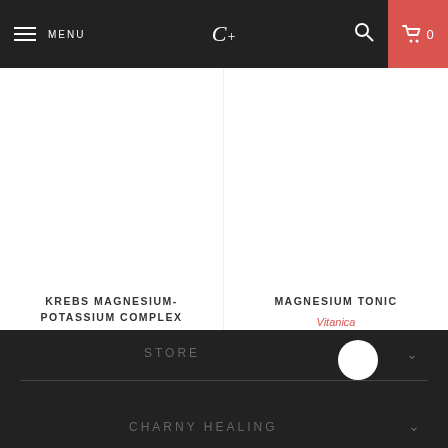MENU | C+ | 🔍 | 🛒 0
KREBS MAGNESIUM-POTASSIUM COMPLEX
Integrative Therapeutics
$17.50
MAGNESIUM TONIC
Vitanica
$29.75
STORE | CHARNY HEALING